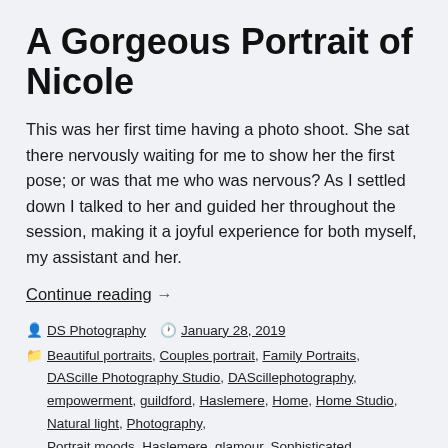A Gorgeous Portrait of Nicole
This was her first time having a photo shoot. She sat there nervously waiting for me to show her the first pose; or was that me who was nervous? As I settled down I talked to her and guided her throughout the session, making it a joyful experience for both myself, my assistant and her.
Continue reading →
By DS Photography  January 28, 2019  Beautiful portraits, Couples portrait, Family Portraits, DAScille Photography Studio, DAScillephotography, empowerment, guildford, Haslemere, Home, Home Studio, Natural light, Photography, Portrait moods, Haslemere, glamour, Sophisticated,  Beautiful portraits, beauty, family portraits, Haslemere,